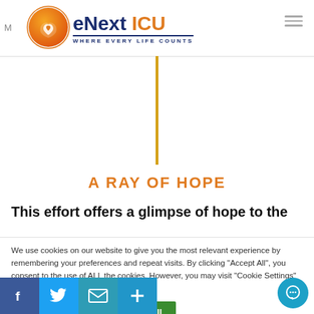eNext ICU — WHERE EVERY LIFE COUNTS
[Figure (logo): eNext ICU logo with circular orange/gold hands graphic and tagline WHERE EVERY LIFE COUNTS]
A RAY OF HOPE
This effort offers a glimpse of hope to the
We use cookies on our website to give you the most relevant experience by remembering your preferences and repeat visits. By clicking "Accept All", you consent to the use of ALL the cookies. However, you may visit "Cookie Settings" to provide a controlled consent.